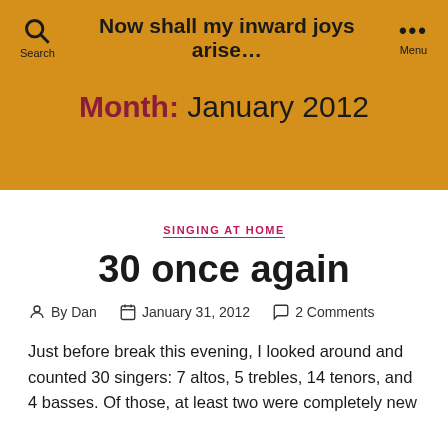Now shall my inward joys arise...
Month: January 2012
SINGING AT HOME
30 once again
By Dan  |  January 31, 2012  |  2 Comments
Just before break this evening, I looked around and counted 30 singers: 7 altos, 5 trebles, 14 tenors, and 4 basses. Of those, at least two were completely new